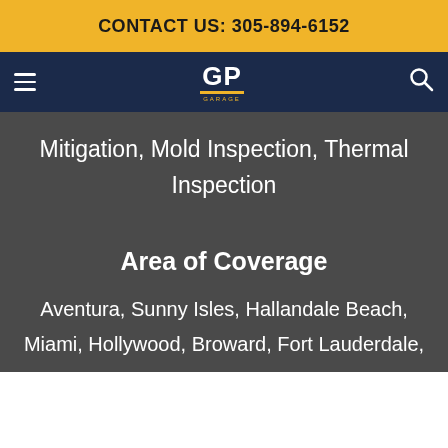CONTACT US: 305-894-6152
[Figure (logo): GP company logo with hamburger menu and search icon on dark navy navigation bar]
Mitigation, Mold Inspection, Thermal Inspection
Area of Coverage
Aventura, Sunny Isles, Hallandale Beach, Miami, Hollywood, Broward, Fort Lauderdale,